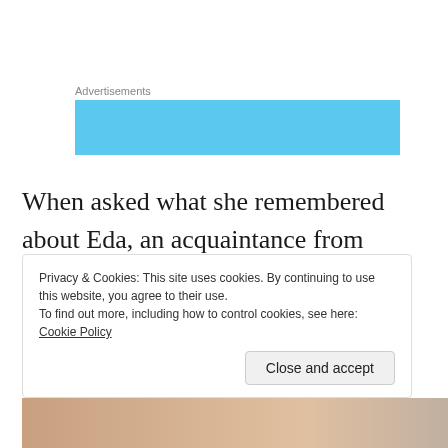Advertisements
[Figure (other): Light blue advertisement banner placeholder]
When asked what she remembered about Eda, an acquaintance from  church remarked,
“I remember her most for her child-like
Privacy & Cookies: This site uses cookies. By continuing to use this website, you agree to their use.
To find out more, including how to control cookies, see here: Cookie Policy
Close and accept
[Figure (photo): Partial photo strip at the bottom of the page showing decorative imagery]